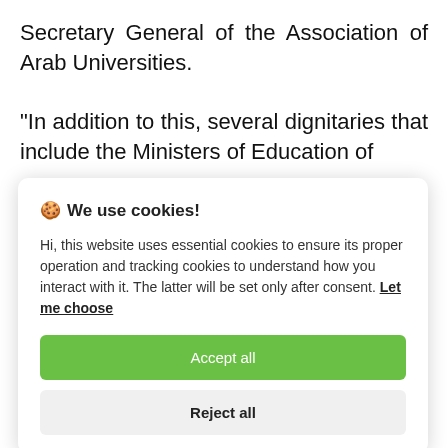Secretary General of the Association of Arab Universities.
“In addition to this, several dignitaries that include the Ministers of Education of
[Figure (screenshot): Cookie consent modal dialog with title 'We use cookies!', body text about essential and tracking cookies, a 'Let me choose' link, an 'Accept all' green button, and a 'Reject all' gray button.]
policies related to online education.